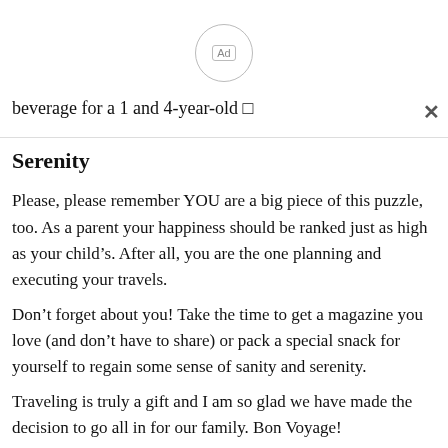[Figure (other): Ad circle button with 'Ad' label inside a circular border]
beverage for a 1 and 4-year-old □
Serenity
Please, please remember YOU are a big piece of this puzzle, too. As a parent your happiness should be ranked just as high as your child’s. After all, you are the one planning and executing your travels.
Don’t forget about you! Take the time to get a magazine you love (and don’t have to share) or pack a special snack for yourself to regain some sense of sanity and serenity.
Traveling is truly a gift and I am so glad we have made the decision to go all in for our family. Bon Voyage!